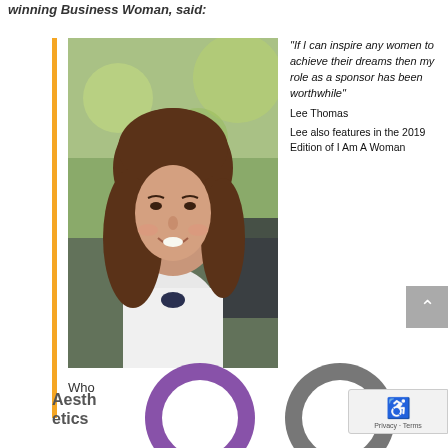Winning Business Woman, said:
[Figure (photo): Portrait photo of a woman with long brown hair wearing a white top, smiling outdoors]
“If I can inspire any women to achieve their dreams then my role as a sponsor has been worthwhile” Lee Thomas Lee also features in the 2019 Edition of I Am A Woman Who
Aesthetics